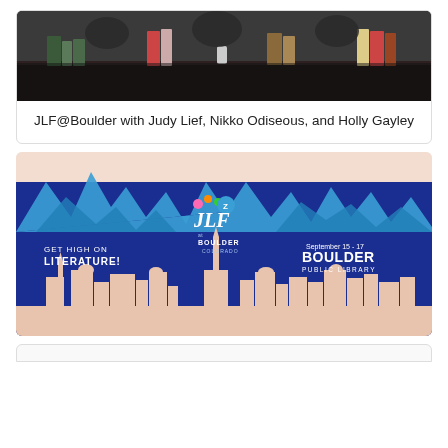[Figure (photo): Photo of a book table with several books displayed on a dark tablecloth, with people seated behind. This appears to be an author signing event at JLF@Boulder.]
JLF@Boulder with Judy Lief, Nikko Odiseous, and Holly Gayley
[Figure (illustration): JLF at Boulder promotional banner illustration. Shows blue mountain peaks at top on a peach/salmon background, with a deep blue lower section featuring city skyline silhouette. Text reads: GET HIGH ON LITERATURE! on the left, JLF at Boulder Colorado logo in the center, and September 15-17 BOULDER PUBLIC LIBRARY on the right.]